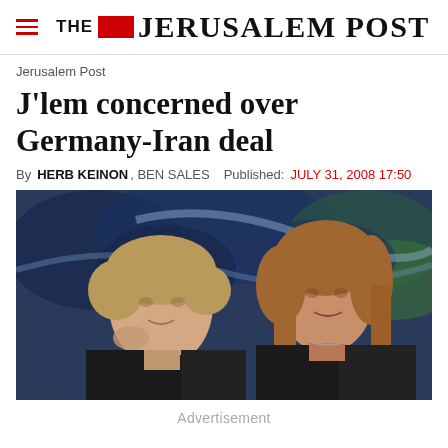THE JERUSALEM POST
Jerusalem Post
J'lem concerned over Germany-Iran deal
By HERB KEINON, BEN SALES   Published: JULY 31, 2008 17:50
[Figure (photo): Two women in dark clothing seated, facing each other slightly, with an abstract colorful painting in the background. Left woman has short blonde hair; right woman has medium-length reddish-blonde hair.]
Advertisement